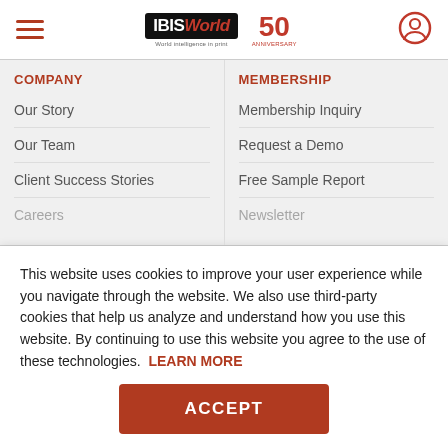IBISWorld 50th Anniversary header with hamburger menu and user icon
COMPANY
Our Story
Our Team
Client Success Stories
Careers
MEMBERSHIP
Membership Inquiry
Request a Demo
Free Sample Report
Newsletter
This website uses cookies to improve your user experience while you navigate through the website. We also use third-party cookies that help us analyze and understand how you use this website. By continuing to use this website you agree to the use of these technologies. LEARN MORE
ACCEPT